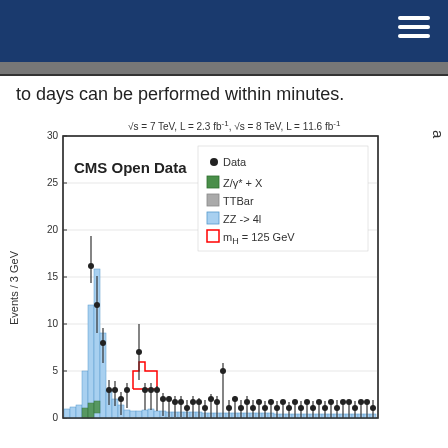to days can be performed within minutes.
[Figure (histogram): CMS Open Data histogram showing four-lepton invariant mass distribution. sqrt(s)=7 TeV, L=2.3 fb^-1, sqrt(s)=8 TeV, L=11.6 fb^-1. Legend: Data (filled circles), Z/gamma*+X (green), TTBar (gray), ZZ->4l (light blue), m_H=125 GeV (red outline). Y-axis 0-30, showing a peak around 90 GeV (Z peak) and a smaller feature near 125 GeV.]